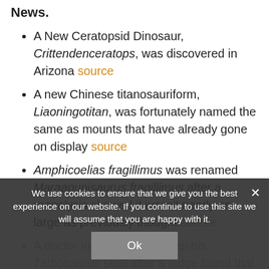News.
A New Ceratopsid Dinosaur, Crittendenceratops, was discovered in Arizona source
A new Chinese titanosauriform, Liaoningotitan, was fortunately named the same as mounts that have already gone on display source
Amphicoelias fragillimus was renamed Maraapunisaurus fragillimus after a reanalysis showed it wasn't nearly as large as previously thought source
A doctor in Texas got to keep his Tarbosaurus skull after a judge found that the US government failed to file forfeiture paperwork source
Two Medicine Dinosaur Center, in Bynum Montana, is building a Amphicoelias (now
We use cookies to ensure that we give you the best experience on our website. If you continue to use this site we will assume that you are happy with it.